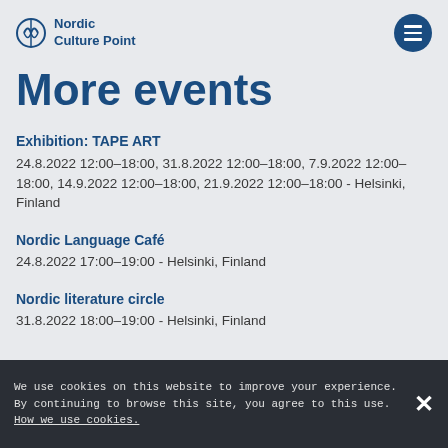Nordic Culture Point
More events
Exhibition: TAPE ART
24.8.2022 12:00–18:00, 31.8.2022 12:00–18:00, 7.9.2022 12:00–18:00, 14.9.2022 12:00–18:00, 21.9.2022 12:00–18:00 - Helsinki, Finland
Nordic Language Café
24.8.2022 17:00–19:00 - Helsinki, Finland
Nordic literature circle
31.8.2022 18:00–19:00 - Helsinki, Finland
We use cookies on this website to improve your experience. By continuing to browse this site, you agree to this use. How we use cookies.